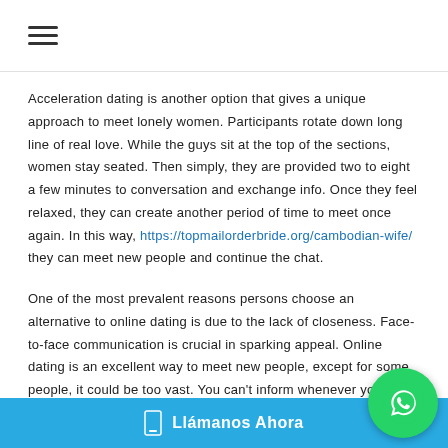≡
Acceleration dating is another option that gives a unique approach to meet lonely women. Participants rotate down long line of real love. While the guys sit at the top of the sections, women stay seated. Then simply, they are provided two to eight a few minutes to conversation and exchange info. Once they feel relaxed, they can create another period of time to meet once again. In this way, https://topmailorderbride.org/cambodian-wife/ they can meet new people and continue the chat.

One of the most prevalent reasons persons choose an alternative to online dating is due to the lack of closeness. Face-to-face communication is crucial in sparking appeal. Online dating is an excellent way to meet new people, except for some people, it could be too vast. You can't inform whenever you'll just like someone from screen or certainly not until you meet these people in person.
Llámanos Ahora